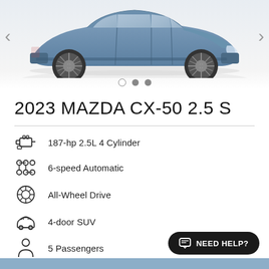[Figure (photo): Side view of a blue/steel Mazda CX-50 SUV on a white/light gray background, showing the vehicle profile with wheels visible. Navigation arrows on left and right sides. Carousel dot indicators below (3 dots: first empty/outline, second and third filled gray).]
2023 MAZDA CX-50 2.5 S
187-hp 2.5L 4 Cylinder
6-speed Automatic
All-Wheel Drive
4-door SUV
5 Passengers
3 years, 36,000 miles
NEED HELP?